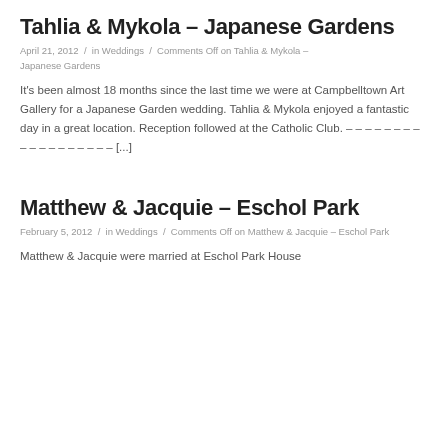Tahlia & Mykola – Japanese Gardens
April 21, 2012  /  in Weddings  /  Comments Off on Tahlia & Mykola – Japanese Gardens
It's been almost 18 months since the last time we were at Campbelltown Art Gallery for a Japanese Garden wedding. Tahlia & Mykola enjoyed a fantastic day in a great location. Reception followed at the Catholic Club. – – – – – – – – – – – – – – – – – – [...]
Matthew & Jacquie – Eschol Park
February 5, 2012  /  in Weddings  /  Comments Off on Matthew & Jacquie – Eschol Park
Matthew & Jacquie were married at Eschol Park House